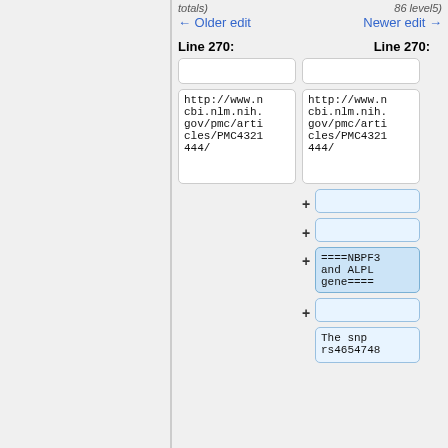totals)
86 level5)
← Older edit
Newer edit →
Line 270:
Line 270:
http://www.ncbi.nlm.nih.gov/pmc/articles/PMC4321444/
http://www.ncbi.nlm.nih.gov/pmc/articles/PMC4321444/
====NBPF3 and ALPL gene====
The snp rs4654748